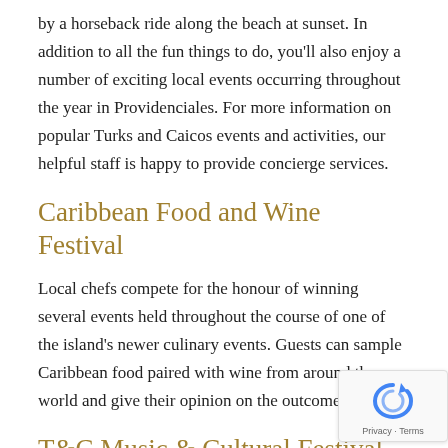by a horseback ride along the beach at sunset. In addition to all the fun things to do, you'll also enjoy a number of exciting local events occurring throughout the year in Providenciales. For more information on popular Turks and Caicos events and activities, our helpful staff is happy to provide concierge services.
Caribbean Food and Wine Festival
Local chefs compete for the honour of winning several events held throughout the course of one of the island's newer culinary events. Guests can sample Caribbean food paired with wine from around the world and give their opinion on the outcome.
T&C Music & Cultural Festival